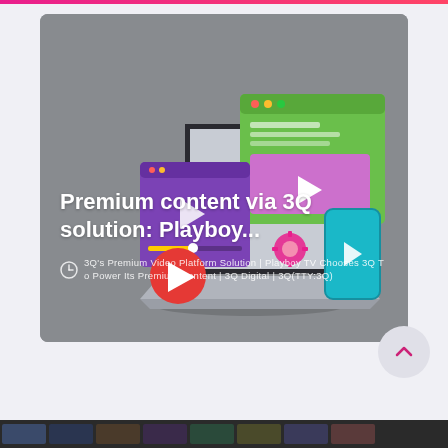[Figure (illustration): Card thumbnail showing isometric illustration of laptop with floating video/media player windows (purple, green screens with play buttons), a red play button icon, teal smartphone, and pink gear icon — all on a gray background. Overlaid white text: 'Premium content via 3Q solution: Playboy...' and a metadata line with clock icon below.]
Premium content via 3Q solution: Playboy...
metadata line with timestamp/category info (partially obscured)
[Figure (illustration): Back-to-top button: circular gray button with upward chevron in pink/magenta]
[Figure (screenshot): Bottom strip showing dark bar with small thumbnail images]